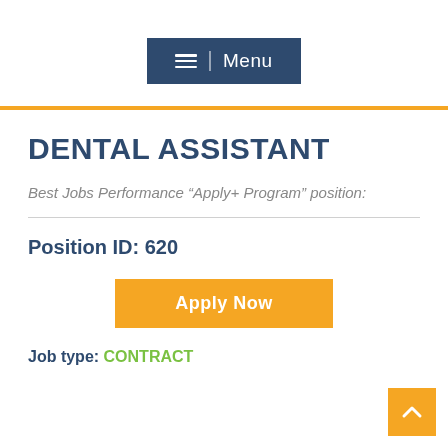[Figure (other): Navigation menu button with hamburger icon and 'Menu' text on dark blue background]
DENTAL ASSISTANT
Best Jobs Performance “Apply+ Program” position:
Position ID: 620
[Figure (other): Orange 'Apply Now' button]
Job type: CONTRACT